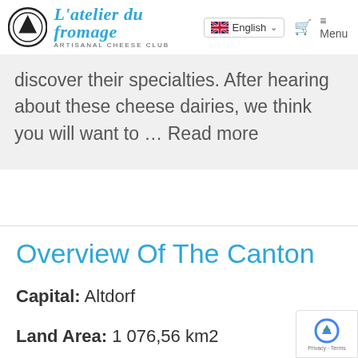L'atelier du fromage ARTISANAL CHEESE CLUB — English — Menu
discover their specialties. After hearing about these cheese dairies, we think you will want to ... Read more
Overview Of The Canton
Capital: Altdorf
Land Area: 1 076,56 km2